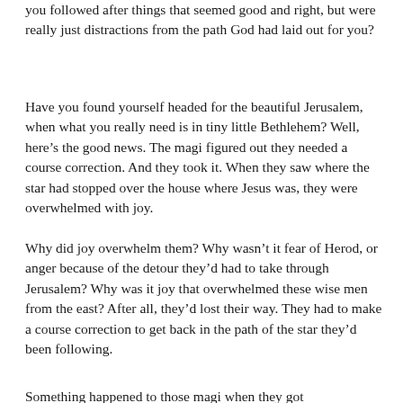you followed after things that seemed good and right, but were really just distractions from the path God had laid out for you?
Have you found yourself headed for the beautiful Jerusalem, when what you really need is in tiny little Bethlehem? Well, here’s the good news. The magi figured out they needed a course correction. And they took it. When they saw where the star had stopped over the house where Jesus was, they were overwhelmed with joy.
Why did joy overwhelm them? Why wasn’t it fear of Herod, or anger because of the detour they’d had to take through Jerusalem? Why was it joy that overwhelmed these wise men from the east? After all, they’d lost their way. They had to make a course correction to get back in the path of the star they’d been following.
Something happened to those magi when they got